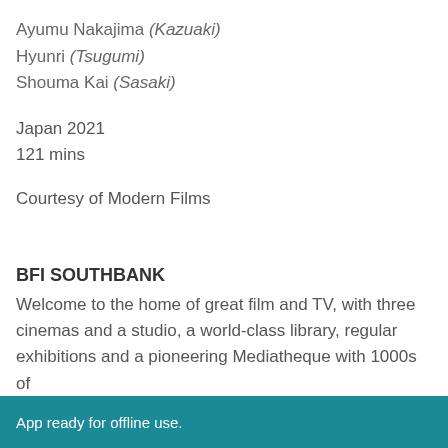Ayumu Nakajima (Kazuaki)
Hyunri (Tsugumi)
Shouma Kai (Sasaki)
Japan 2021
121 mins
Courtesy of Modern Films
BFI SOUTHBANK
Welcome to the home of great film and TV, with three cinemas and a studio, a world-class library, regular exhibitions and a pioneering Mediatheque with 1000s of
App ready for offline use.